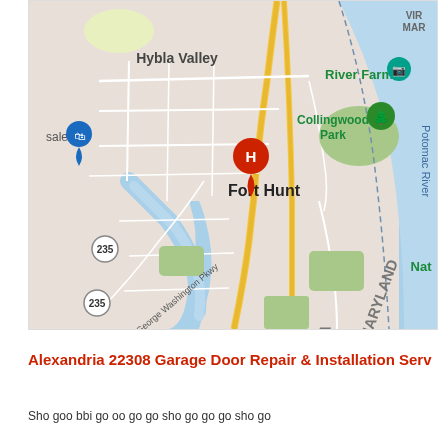[Figure (map): Google Maps screenshot showing Fort Hunt area in Alexandria, Virginia 22308. Shows Hybla Valley to the northwest, Collingwood Park, River Farm, George Washington Pkwy, route 235, Potomac River to the east, and the Virginia/Maryland state border. A red location pin (H) marks a garage door repair business location.]
Alexandria 22308 Garage Door Repair & Installation Serv
Sho goo bbi go oo go go sho go go go sho go